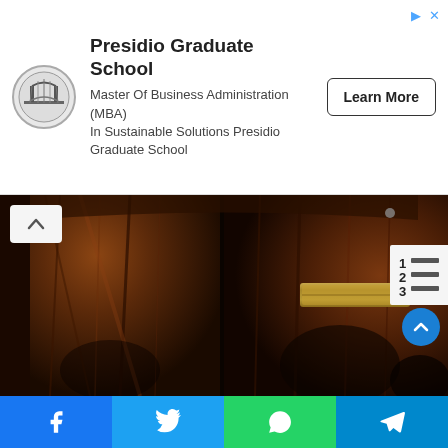[Figure (infographic): Advertisement banner for Presidio Graduate School with circular logo showing a bridge, school name, MBA description, and a Learn More button]
[Figure (photo): Close-up photograph of an old, dark wooden double door with brass mail slot, worn texture, and visible grain. A numbered list icon overlay is visible in the upper right of the photo area.]
[Figure (infographic): Social sharing bar at the bottom with four buttons: Facebook (blue), Twitter (light blue), WhatsApp (green), Telegram (dark blue)]